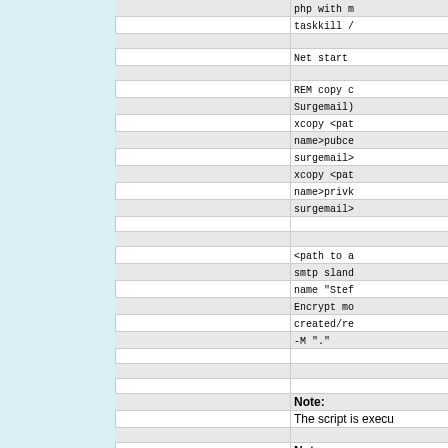php with m...
taskkill /...
Net start ...
REM copy c...
Surgemail)...
xcopy <pat...
name>pubce...
surgemail>...
xcopy <pat...
name>privk...
surgemail>...
<path to a...
smtp sland...
name "Stef...
Encrypt mo...
created/re...
-M "."
Note:
The script is execu...
Note:
mailsend.exe , see...
https://github.com/...
Back to top
Steffen
Posted: Mon 30 S...